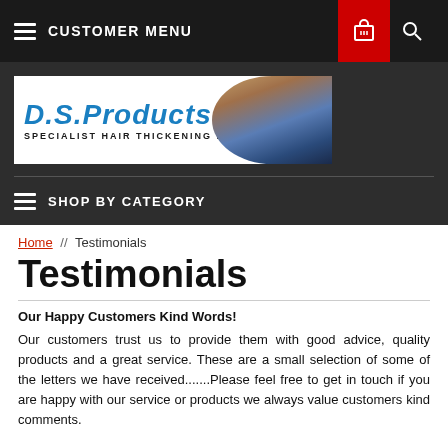CUSTOMER MENU
[Figure (logo): D.S.Products Specialist Hair Thickening Products logo with woman's silhouette]
SHOP BY CATEGORY
Home // Testimonials
Testimonials
Our Happy Customers Kind Words!
Our customers trust us to provide them with good advice, quality products and a great service. These are a small selection of some of the letters we have received.......Please feel free to get in touch if you are happy with our service or products we always value customers kind comments.